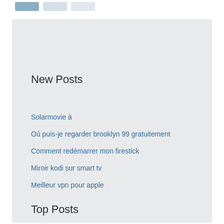[Figure (other): Navigation bar placeholder boxes at top of page]
New Posts
Solarmovie à
Où puis-je regarder brooklyn 99 gratuitement
Comment redémarrer mon firestick
Miroir kodi sur smart tv
Meilleur vpn pour apple
Top Posts